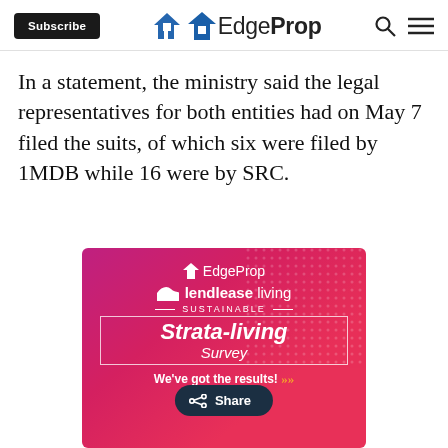Subscribe | EdgeProp
In a statement, the ministry said the legal representatives for both entities had on May 7 filed the suits, of which six were filed by 1MDB while 16 were by SRC.
[Figure (illustration): EdgeProp x Lendlease Living advertisement banner for SUSTAINABLE Strata-living Survey with 'We've got the results!' text and share button overlay]